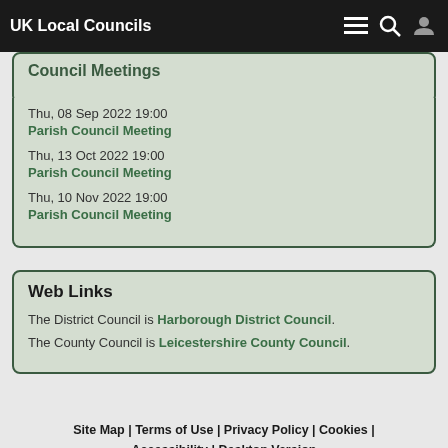UK Local Councils
Council Meetings
Thu, 08 Sep 2022 19:00
Parish Council Meeting
Thu, 13 Oct 2022 19:00
Parish Council Meeting
Thu, 10 Nov 2022 19:00
Parish Council Meeting
Web Links
The District Council is Harborough District Council.
The County Council is Leicestershire County Council.
Site Map | Terms of Use | Privacy Policy | Cookies | Accessibility | Desktop Version
Web technology by 2commune
HTML5 validated. WCAG compliant. Page generated in 0.1367 seconds.